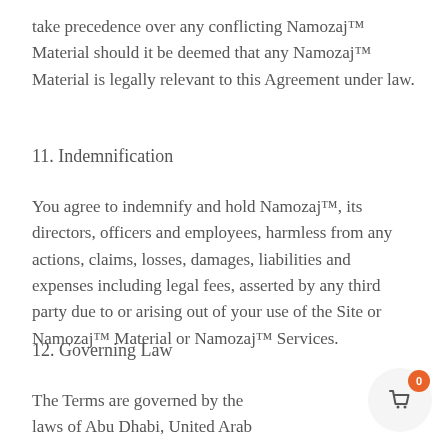take precedence over any conflicting Namozaj™ Material should it be deemed that any Namozaj™ Material is legally relevant to this Agreement under law.
11. Indemnification
You agree to indemnify and hold Namozaj™, its directors, officers and employees, harmless from any actions, claims, losses, damages, liabilities and expenses including legal fees, asserted by any third party due to or arising out of your use of the Site or Namozaj™ Material or Namozaj™ Services.
12. Governing Law
The Terms are governed by the laws of Abu Dhabi, United Arab Emirates.